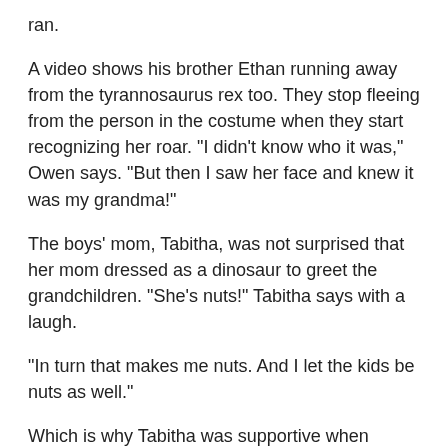ran.
A video shows his brother Ethan running away from the tyrannosaurus rex too. They stop fleeing from the person in the costume when they start recognizing her roar. "I didn't know who it was," Owen says. "But then I saw her face and knew it was my grandma!"
The boys' mom, Tabitha, was not surprised that her mom dressed as a dinosaur to greet the grandchildren. "She's nuts!" Tabitha says with a laugh.
"In turn that makes me nuts. And I let the kids be nuts as well."
Which is why Tabitha was supportive when Ethan and Owen started plotting a reptilian retaliation. "We came up with a plan to scare her with our raptor costumes," Owen says.